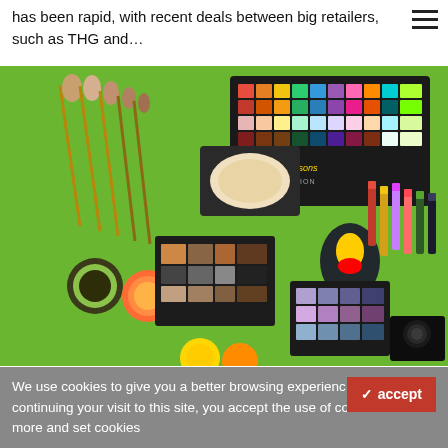has been rapid, with recent deals between big retailers, such as THG and…
[Figure (photo): Flatlay of The Simpsons x Revolution cosmetics collection on a green background, including eyeshadow palettes, makeup brushes, lip glosses, and other makeup products]
The cult series of the '90s are making a comeback… in cosmetics
The cosmetics industry is constantly reinventing itself to capture
We use cookies to give you a better browsing experience. By continuing your visit to this site, you accept the use of cookies. Read more and set cookies